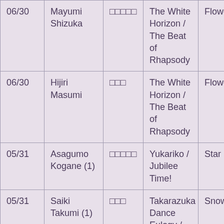| 06/30 | Mayumi Shizuka | □□□□□ | The White Horizon / The Beat of Rhapsody | Flower |
| 06/30 | Hijiri Masumi | □□□ | The White Horizon / The Beat of Rhapsody | Flower |
| 05/31 | Asagumo Kogane (1) | □□□□□ | Yukariko / Jubilee Time! | Star |
| 05/31 | Saiki Takumi (1) | □□□ | Takarazuka Dance Eulogy / The Red Rose of Samarkand | Snow |